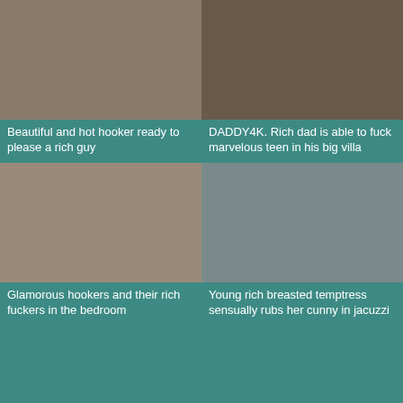[Figure (photo): Thumbnail image - top left]
Beautiful and hot hooker ready to please a rich guy
[Figure (photo): Thumbnail image - top right]
DADDY4K. Rich dad is able to fuck marvelous teen in his big villa
[Figure (photo): Thumbnail image - middle left]
Glamorous hookers and their rich fuckers in the bedroom
[Figure (photo): Thumbnail image - middle right]
Young rich breasted temptress sensually rubs her cunny in jacuzzi
[Figure (photo): Thumbnail image - bottom left placeholder]
[Figure (photo): Thumbnail image - bottom right placeholder]